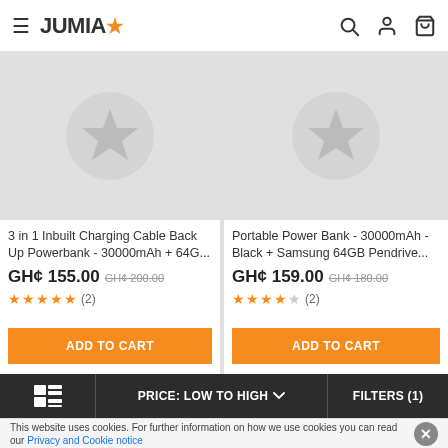JUMIA
[Figure (screenshot): Two product cards: (1) 3 in 1 Inbuilt Charging Cable Back Up Powerbank - 30000mAh + 64G... GH¢ 155.00 (was GH¢ 200.00), 5 stars (2), ADD TO CART; (2) Portable Power Bank - 30000mAh - Black + Samsung 64GB Pendrive... GH¢ 159.00 (was GH¢ 180.00), 4 stars (2), ADD TO CART]
PRICE: LOW TO HIGH   FILTERS (1)
This website uses cookies. For further information on how we use cookies you can read our Privacy and Cookie notice